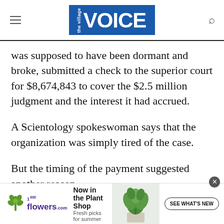the Village VOICE
was supposed to have been dormant and broke, submitted a check to the superior court for $8,674,843 to cover the $2.5 million judgment and the interest it had accrued.
A Scientology spokeswoman says that the organization was simply tired of the case.
But the timing of the payment suggested another reason.
[Figure (other): 1-800-flowers.com advertisement banner with plant image and 'Now in the Plant Shop / Fresh picks for summer' and 'SEE WHAT'S NEW' button]